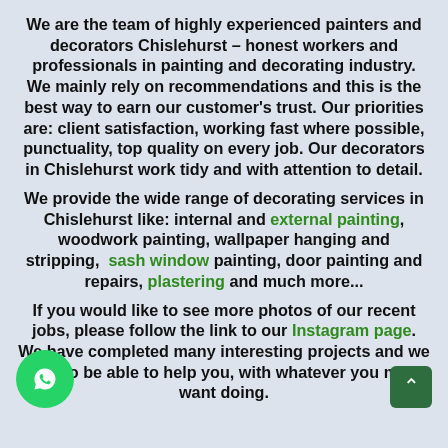We are the team of highly experienced painters and decorators Chislehurst – honest workers and professionals in painting and decorating industry. We mainly rely on recommendations and this is the best way to earn our customer's trust. Our priorities are: client satisfaction, working fast where possible, punctuality, top quality on every job. Our decorators in Chislehurst work tidy and with attention to detail.
We provide the wide range of decorating services in Chislehurst like: internal and external painting, woodwork painting, wallpaper hanging and stripping, sash window painting, door painting and repairs, plastering and much more...
If you would like to see more photos of our recent jobs, please follow the link to our Instagram page. We have completed many interesting projects and we hope to be able to help you, with whatever you might want doing.